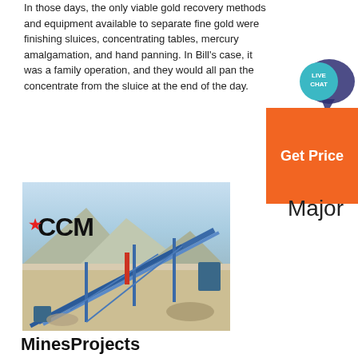In those days, the only viable gold recovery methods and equipment available to separate fine gold were finishing sluices, concentrating tables, mercury amalgamation, and hand panning. In Bill's case, it was a family operation, and they would all pan the concentrate from the sluice at the end of the day.
[Figure (other): Live Chat bubble widget (teal circular badge with 'LIVE CHAT' text) with orange 'Get Price' button below]
Major
[Figure (photo): Aerial photograph of a large open-pit mining operation showing conveyor belts, scaffolding structures, and heavy equipment. Mountains in the background. CCM logo overlaid in top-left corner.]
MinesProjects